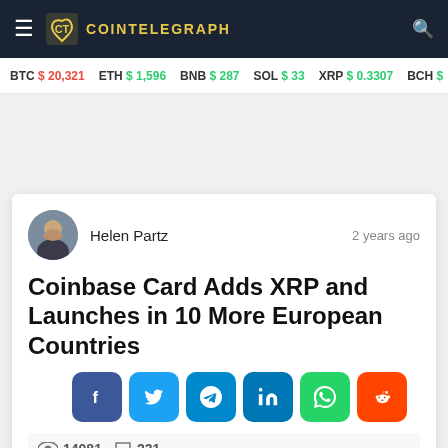COINTELEGRAPH
BTC $ 20,321  ETH $ 1,596  BNB $ 287  SOL $ 33  XRP $ 0.3307  BCH $
Helen Partz   2 years ago
Coinbase Card Adds XRP and Launches in 10 More European Countries
14081  231